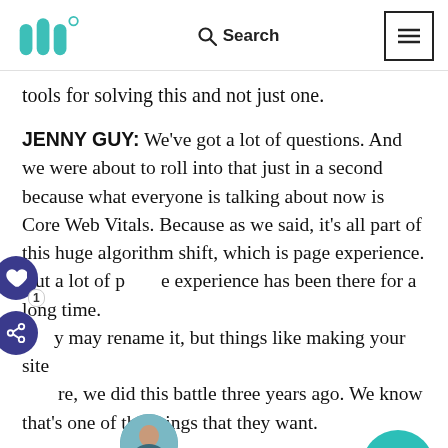Mediavine logo | Search | Menu
tools for solving this and not just one.
JENNY GUY: We've got a lot of questions. And we were about to roll into that just in a second because what everyone is talking about now is Core Web Vitals. Because as we said, it's all part of this huge algorithm shift, which is page experience. But a lot of page experience has been there for a long time. They may rename it, but things like making your site secure, we did this battle three years ago. We know that's one of the things that they want.
But the biggest thing are these Core Web Vitals. As you said, three new acronyms that everyone is going